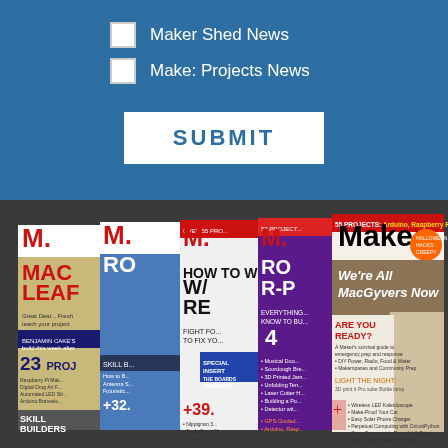Maker Shed News
Make: Projects News
SUBMIT
[Figure (photo): Stack of Make: magazine covers fanned out, showing multiple issues. The rightmost and most visible cover reads 'Make: We're All MacGyvers Now' with '55 PROJECTS: Arduino, Raspberry Pi, 3D Printing' at the top, featuring a child holding a glowing water bottle. Other partially visible covers show 'M' logos and various project headlines.]